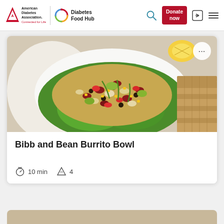American Diabetes Association | Diabetes Food Hub — navigation header with Donate now button, search, login, and menu icons
[Figure (photo): Photo of a Bibb lettuce bowl filled with a colorful bean salad including kidney beans, black beans, corn, tomatoes, and avocado on a white plate with a wicker basket in background. A circular more-options button (…) appears in the top right corner of the image.]
Bibb and Bean Burrito Bowl
10 min   4